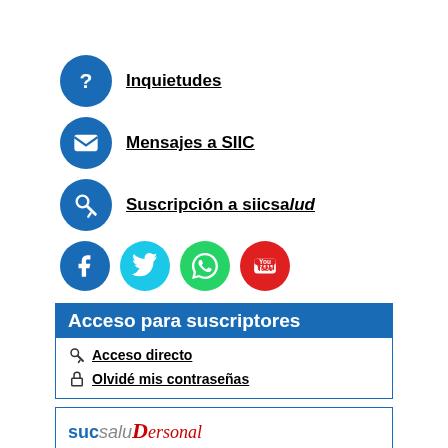Inquietudes
Mensajes a SIIC
Suscripción a siicsalud
[Figure (infographic): Social media icons: Facebook (blue circle), Twitter (cyan circle), WhatsApp (green circle), YouTube (red circle)]
Acceso para suscriptores
Acceso directo
Olvidé mis contraseñas
[Figure (logo): suesaludPersonal brand logo]
escribe tu email
Informo